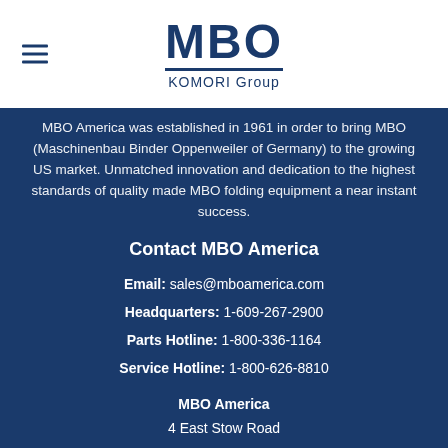MBO KOMORI Group
MBO America was established in 1961 in order to bring MBO (Maschinenbau Binder Oppenweiler of Germany) to the growing US market. Unmatched innovation and dedication to the highest standards of quality made MBO folding equipment a near instant success.
Contact MBO America
Email: sales@mboamerica.com
Headquarters: 1-609-267-2900
Parts Hotline: 1-800-336-1164
Service Hotline: 1-800-626-8810
MBO America
4 East Stow Road
Ste 12
Marlton, New Jersey 08053
Overview